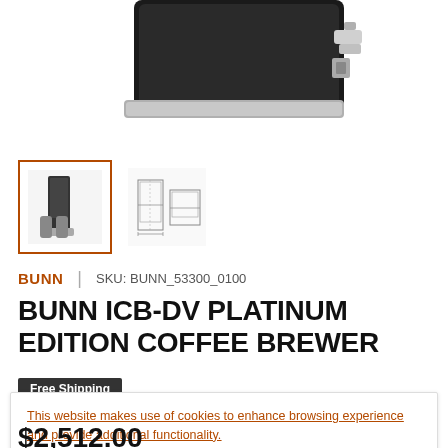[Figure (photo): Product image of BUNN ICB-DV coffee brewer, showing bottom portion with metallic and black housing detail]
[Figure (photo): Small thumbnail of BUNN coffee brewer product photo, selected state with orange border]
[Figure (engineering-diagram): Small thumbnail showing engineering/dimension diagram of the coffee brewer]
BUNN | SKU: BUNN_53300_0100
BUNN ICB-DV PLATINUM EDITION COFFEE BREWER
Free Shipping
This website makes use of cookies to enhance browsing experience and provide additional functionality.
Accept
$2,512.00